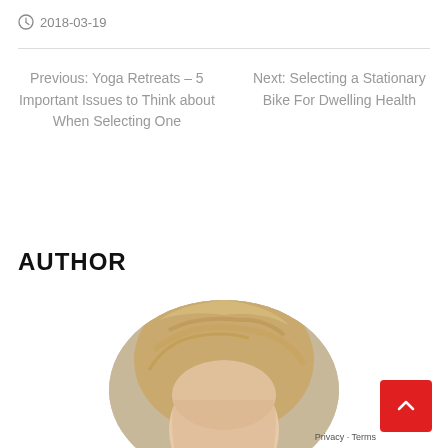2018-03-19
Previous: Yoga Retreats – 5 Important Issues to Think about When Selecting One
Next: Selecting a Stationary Bike For Dwelling Health
AUTHOR
[Figure (photo): Circular cropped photo of a blonde woman, top of head visible, partially cut off at bottom of page]